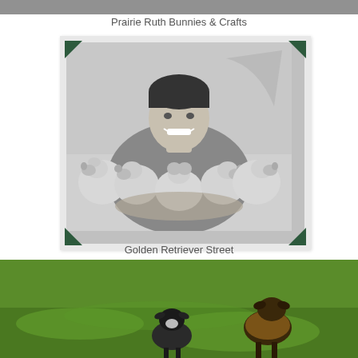[Figure (photo): Top strip of a photo - partial view, cut off at top of page]
Prairie Ruth Bunnies & Crafts
[Figure (photo): Black and white photograph of a smiling woman holding five golden retriever puppies who are facing the camera with their paws up, displayed in a white frame with dark green corner decorations]
Golden Retriever Street
[Figure (photo): Color photograph of goats standing on green grass, two goats visible facing the camera]